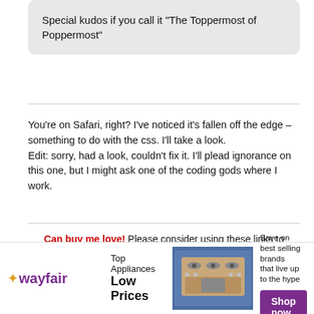Special kudos if you call it “The Toppermost of Poppermost”
You're on Safari, right? I've noticed it's fallen off the edge – something to do with the css. I'll take a look.
Edit: sorry, had a look, couldn't fix it. I'll plead ignorance on this one, but I might ask one of the coding gods where I work.
Can buy me love! Please consider using these links to support the Beatles Bible: Amazon | iTunes
[Figure (other): Wayfair advertisement banner: Top Appliances Low Prices, with stove image and Shop now button]